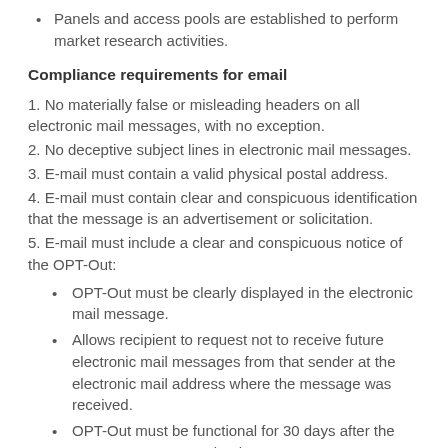Panels and access pools are established to perform market research activities.
Compliance requirements for email
1. No materially false or misleading headers on all electronic mail messages, with no exception.
2. No deceptive subject lines in electronic mail messages.
3. E-mail must contain a valid physical postal address.
4. E-mail must contain clear and conspicuous identification that the message is an advertisement or solicitation.
5. E-mail must include a clear and conspicuous notice of the OPT-Out:
OPT-Out must be clearly displayed in the electronic mail message.
Allows recipient to request not to receive future electronic mail messages from that sender at the electronic mail address where the message was received.
OPT-Out must be functional for 30 days after the message was transmitted.
The OPT-Out must be put in effect within 10 days of receiving the